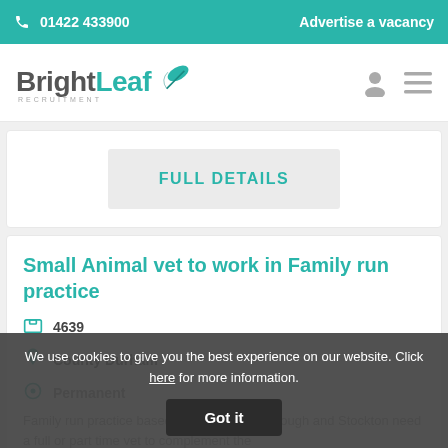📞 01422 433900   Advertise a vacancy
[Figure (logo): BrightLeaf Recruitment logo with teal leaf graphic and grey/teal wordmark]
FULL DETAILS
Small Animal vet to work in Family run practice
4639
County Durham
Permanent
Family run practice based close to Middlesbrough and Stockton need a full or part time vet to complement the
We use cookies to give you the best experience on our website. Click here for more information.
Got it